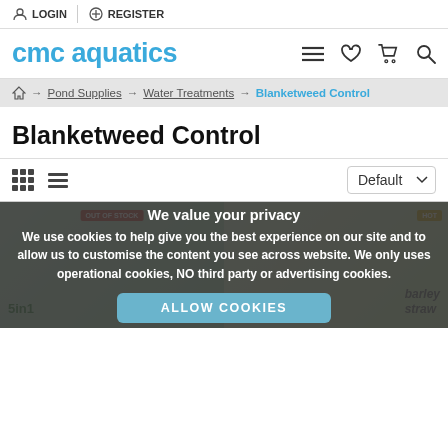LOGIN  REGISTER
[Figure (logo): cmc aquatics logo in blue text with navigation icons (hamburger menu, heart, cart, search)]
Home → Pond Supplies → Water Treatments → Blanketweed Control
Blanketweed Control
Grid view / List view toggle | Default sort dropdown
[Figure (screenshot): Cookie consent overlay with text: We value your privacy. We use cookies to help give you the best experience on our site and to allow us to customise the content you see across website. We only uses operational cookies, NO third party or advertising cookies. ALLOW COOKIES button. Behind the overlay are product thumbnail images including one labelled OUT OF STOCK and one with a HOT badge, one showing 5in1 product and barley straw product.]